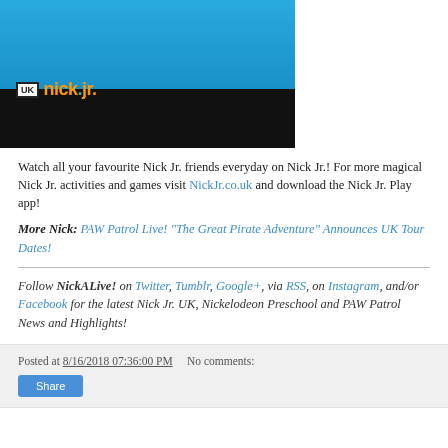[Figure (screenshot): Nick Jr. UK branded image showing a monster truck character on blue background with Nick Jr. UK logo]
Watch all your favourite Nick Jr. friends everyday on Nick Jr.! For more magical Nick Jr. activities and games visit NickJr.co.uk and download the Nick Jr. Play app!
More Nick: PAW Patrol Live! "The Great Pirate Adventure" Announces UK Tour Dates!
Follow NickALive! on Twitter, Tumblr, Google+, via RSS, on Instagram, and/or Facebook for the latest Nick Jr. UK, Nickelodeon Preschool and PAW Patrol News and Highlights!
Posted at 8/16/2018 07:36:00 PM    No comments:
Share